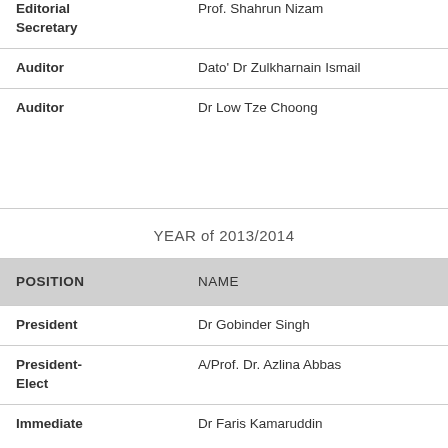| POSITION | NAME |
| --- | --- |
| Editorial Secretary | Prof. Shahrun Nizam |
| Auditor | Dato' Dr Zulkharnain Ismail |
| Auditor | Dr Low Tze Choong |
YEAR of 2013/2014
| POSITION | NAME |
| --- | --- |
| President | Dr Gobinder Singh |
| President-Elect | A/Prof. Dr. Azlina Abbas |
| Immediate | Dr Faris Kamaruddin |